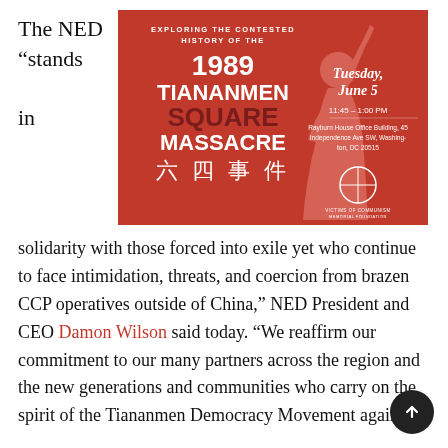The NED “stands in
[Figure (illustration): Event flyer on red background: 'Exploring the Contested History of the 1989 Tiananmen Square Massacre 六四事件' with a silhouette of a person raising their arm. Text: Tuesday, June 5, 11:45 - 1:00 PM, Rayburn House Office Building, 45 Independence Ave SW, Washington, DC 20515. Victims of Communism Memorial Foundation logo.]
solidarity with those forced into exile yet who continue to face intimidation, threats, and coercion from brazen CCP operatives outside of China,” NED President and CEO Damon Wilson said today. “We reaffirm our commitment to our many partners across the region and the new generations and communities who carry on the spirit of the Tiananmen Democracy Movement against